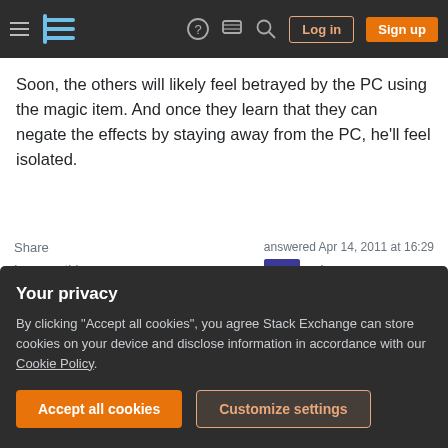Stack Exchange navigation bar with hamburger, logo, help, chat, search, Log in, Sign up
Soon, the others will likely feel betrayed by the PC using the magic item. And once they learn that they can negate the effects by staying away from the PC, he'll feel isolated.
Share   Improve this answer   Follow   Add a comment   answered Apr 14, 2011 at 16:29   zelgar  587 ● 2 ● 2
I might approach this by depriving all but one of the PCs
Your privacy
By clicking "Accept all cookies", you agree Stack Exchange can store cookies on your device and disclose information in accordance with our Cookie Policy.
Accept all cookies   Customize settings